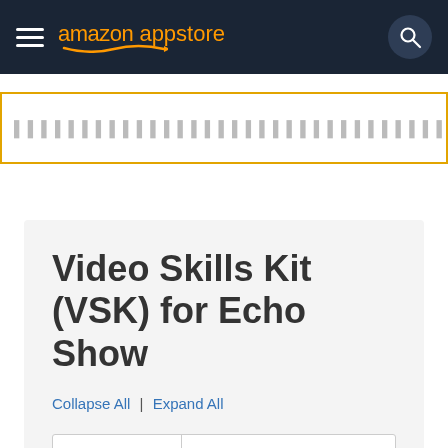[Figure (screenshot): Amazon Appstore navigation bar with hamburger menu, Amazon Appstore logo in orange text, and search icon circle on dark navy background]
[Figure (screenshot): Search input field with yellow/gold border, containing placeholder dots and an X clear button]
Video Skills Kit (VSK) for Echo Show
Collapse All | Expand All
[Figure (screenshot): Search docs... input field with search button on light gray card background]